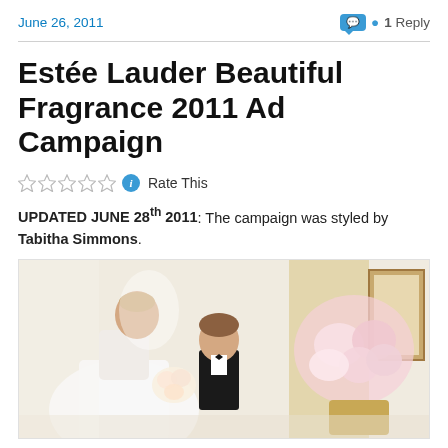June 26, 2011
1 Reply
Estée Lauder Beautiful Fragrance 2011 Ad Campaign
Rate This
UPDATED JUNE 28th 2011: The campaign was styled by Tabitha Simmons.
[Figure (photo): Woman in white wedding dress bending toward a young boy in a tuxedo, with large pink floral arrangement on the right side, in an elegant interior setting.]